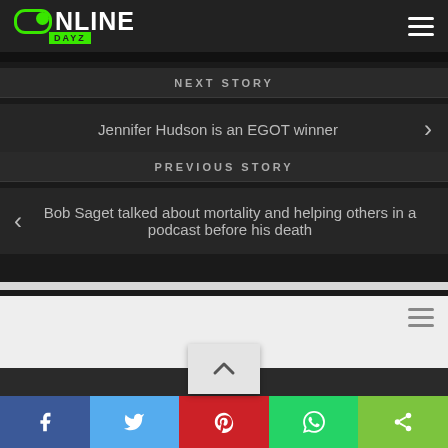ONLINE DAYZ
NEXT STORY
Jennifer Hudson is an EGOT winner
PREVIOUS STORY
Bob Saget talked about mortality and helping others in a podcast before his death
Online Dayz © 2022. All Rights Reserved.